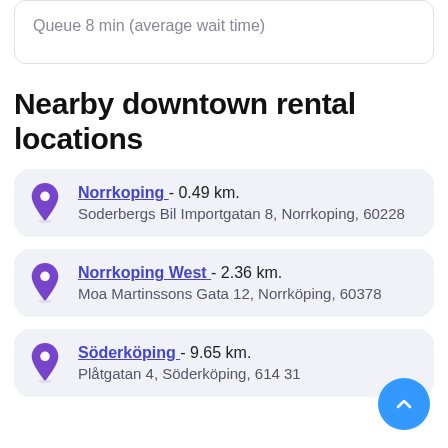Queue 8 min (average wait time)
Nearby downtown rental locations
Norrkoping - 0.49 km. Soderbergs Bil Importgatan 8, Norrkoping, 60228
Norrkoping West - 2.36 km. Moa Martinssons Gata 12, Norrköping, 60378
Söderköping - 9.65 km. Plåtgatan 4, Söderköping, 614 31